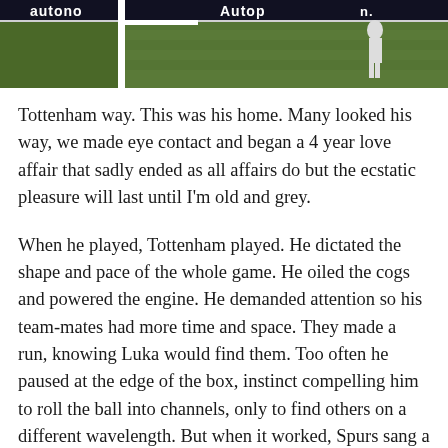[Figure (photo): A cropped sports photograph showing a football/soccer pitch with green grass, sponsor banners reading 'Autoho' and 'Autop' along the top edge, a white goalpost on the left, and a player visible on the right side.]
Tottenham way. This was his home. Many looked his way, we made eye contact and began a 4 year love affair that sadly ended as all affairs do but the ecstatic pleasure will last until I'm old and grey.
When he played, Tottenham played. He dictated the shape and pace of the whole game. He oiled the cogs and powered the engine. He demanded attention so his team-mates had more time and space. They made a run, knowing Luka would find them. Too often he paused at the edge of the box, instinct compelling him to roll the ball into channels, only to find others on a different wavelength. But when it worked, Spurs sang a song of joy. Flowing, easy movement as natural as breathing yet breathtaking given the ferocious pace and physicality of